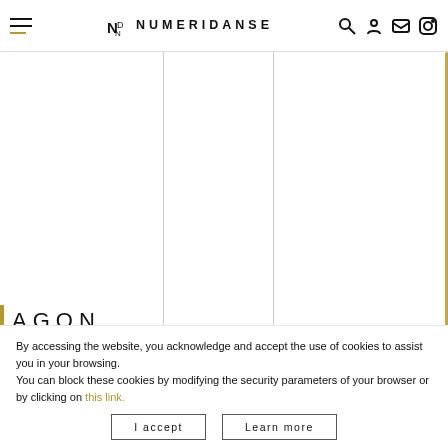NUMERIDANSE
[Figure (screenshot): Three-column grid area with white background and vertical divider lines]
AGON
Choreography : George Balanchine
Original music : Igor Stravinsky
By accessing the website, you acknowledge and accept the use of cookies to assist you in your browsing. You can block these cookies by modifying the security parameters of your browser or by clicking on this link.
I accept   Learn more